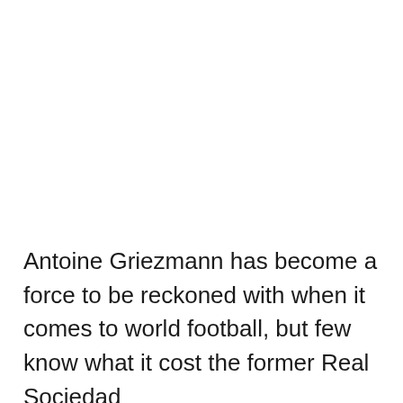Antoine Griezmann has become a force to be reckoned with when it comes to world football, but few know what it cost the former Real Sociedad